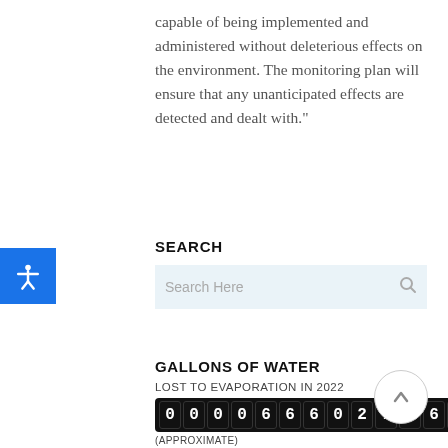capable of being implemented and administered without deleterious effects on the environment. The monitoring plan will ensure that any unanticipated effects are detected and dealt with."
SEARCH
[Figure (other): Search input box with placeholder text 'Search Here' and a magnifying glass icon on the right]
GALLONS OF WATER
LOST TO EVAPORATION IN 2022
[Figure (other): Odometer-style counter display showing the number 0000660272666 in white digits on black background]
(APPROXIMATE)